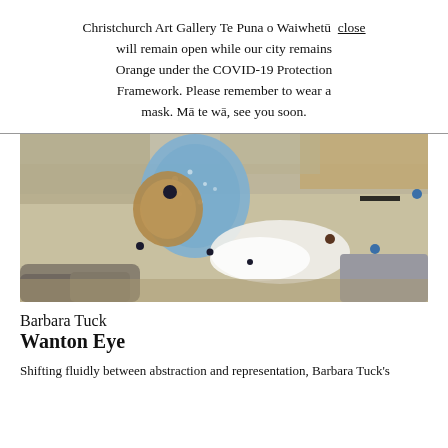Christchurch Art Gallery Te Puna o Waiwhetū will remain open while our city remains Orange under the COVID-19 Protection Framework. Please remember to wear a mask. Mā te wā, see you soon.
[Figure (photo): Artwork image by Barbara Tuck showing an abstract landscape painting with blue patterned shapes, earthy tones, rocks, white areas, and scattered dark dots.]
Barbara Tuck
Wanton Eye
Shifting fluidly between abstraction and representation, Barbara Tuck's